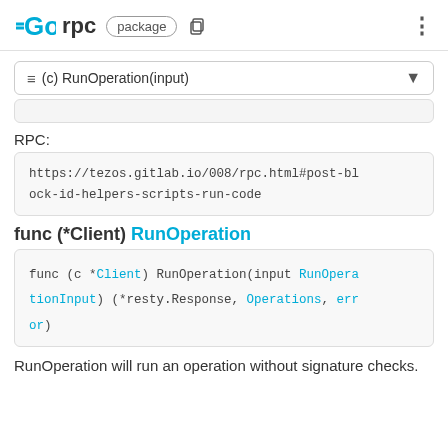GO rpc package
≡ (c) RunOperation(input)
RPC:
https://tezos.gitlab.io/008/rpc.html#post-block-id-helpers-scripts-run-code
func (*Client) RunOperation
func (c *Client) RunOperation(input RunOperationInput) (*resty.Response, Operations, error)
RunOperation will run an operation without signature checks.